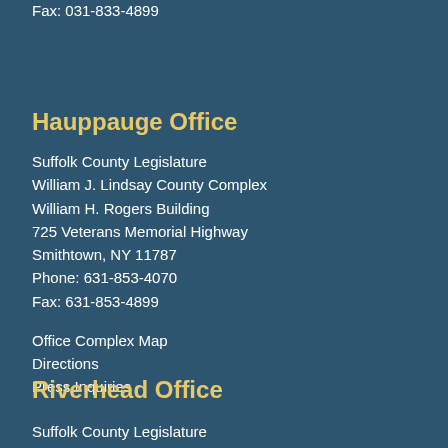Fax: 031-833-4899
Hauppauge Office
Suffolk County Legislature
William J. Lindsay County Complex
William H. Rogers Building
725 Veterans Memorial Highway
Smithtown, NY 11787
Phone: 631-853-4070
Fax: 631-853-4899
Office Complex Map
Directions
Press Inquiries
Riverhead Office
Suffolk County Legislature